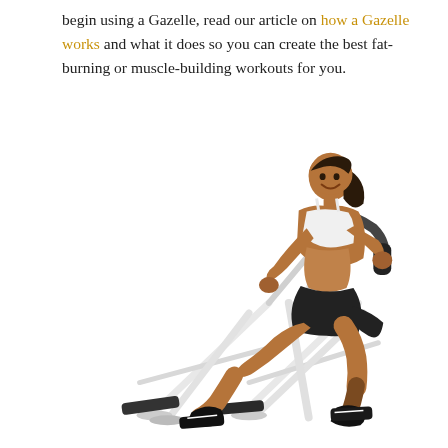begin using a Gazelle, read our article on how a Gazelle works and what it does so you can create the best fat-burning or muscle-building workouts for you.
[Figure (photo): A fit woman using a Gazelle glider exercise machine, wearing white sports bra and black shorts, leaning forward with arms extended on handlebars and legs in a running/gliding stride position. The machine has a white metal X-frame with black handlebar grips and foot platforms.]